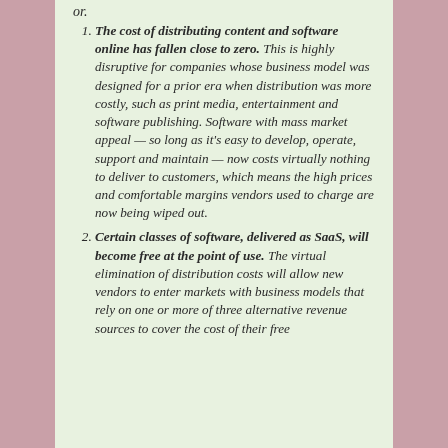or.
The cost of distributing content and software online has fallen close to zero. This is highly disruptive for companies whose business model was designed for a prior era when distribution was more costly, such as print media, entertainment and software publishing. Software with mass market appeal — so long as it's easy to develop, operate, support and maintain — now costs virtually nothing to deliver to customers, which means the high prices and comfortable margins vendors used to charge are now being wiped out.
Certain classes of software, delivered as SaaS, will become free at the point of use. The virtual elimination of distribution costs will allow new vendors to enter markets with business models that rely on one or more of three alternative revenue sources to cover the cost of their free offerings. The next line continuation of the...